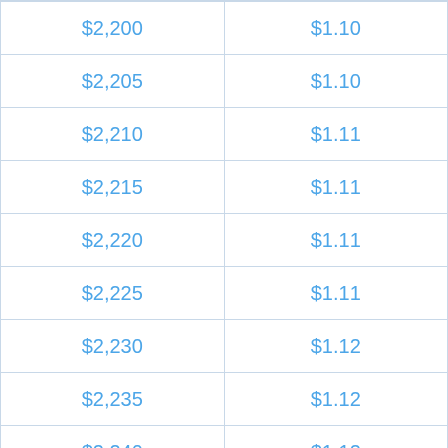| $2,200 | $1.10 |
| $2,205 | $1.10 |
| $2,210 | $1.11 |
| $2,215 | $1.11 |
| $2,220 | $1.11 |
| $2,225 | $1.11 |
| $2,230 | $1.12 |
| $2,235 | $1.12 |
| $2,240 | $1.12 |
| $2,245 | $1.12 |
| $2,250 | $1.13 |
| $2,255 | $1.13 |
| $2,260 | $1.13 |